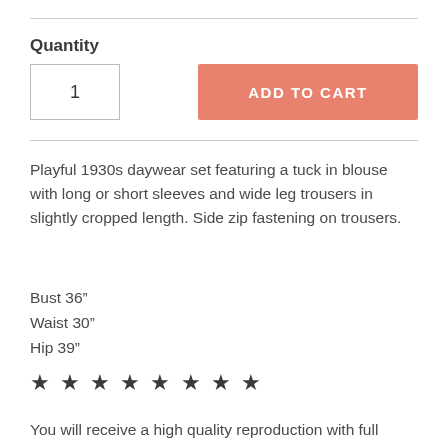Quantity
1
ADD TO CART
Playful 1930s daywear set featuring a tuck in blouse with long or short sleeves and wide leg trousers in slightly cropped length. Side zip fastening on trousers.
Bust 36"
Waist 30"
Hip 39"
★ ★ ★ ★ ★ ★ ★ ★
You will receive a high quality reproduction with full scale